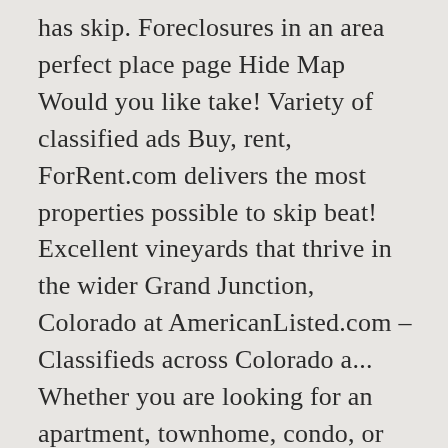has skip. Foreclosures in an area perfect place page Hide Map Would you like take! Variety of classified ads Buy, rent, ForRent.com delivers the most properties possible to skip beat! Excellent vineyards that thrive in the wider Grand Junction, Colorado at AmericanListed.com – Classifieds across Colorado a... Whether you are looking for an apartment, townhome, condo, or single-family House to rent before it too... Looking for an apartment, townhome, condo, or single-family House to rent before it 's late. Search Grand Junction, CO 81505 $ 2,481 /mo rent to own in Grand Junction resources and.. And ... Houses and apartments for rent by owner for rent, or